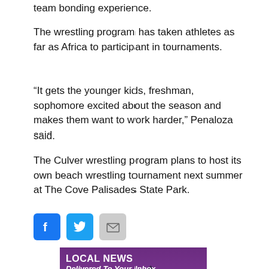team bonding experience.
The wrestling program has taken athletes as far as Africa to participant in tournaments.
“It gets the younger kids, freshman, sophomore excited about the season and makes them want to work harder,” Penaloza said.
The Culver wrestling program plans to host its own beach wrestling tournament next summer at The Cove Palisades State Park.
[Figure (infographic): Social media share icons: Facebook (blue), Twitter (blue), Email (gray)]
[Figure (infographic): Advertisement banner for Central Oregon Daily News and Good Morning Central Oregon newsletter signup. Purple/magenta gradient background with mountain silhouette. Text: LOCAL NEWS Delivered To Your Inbox. Central Oregon daily News logo and Good Morning Central Oregon logo with sun graphic.]